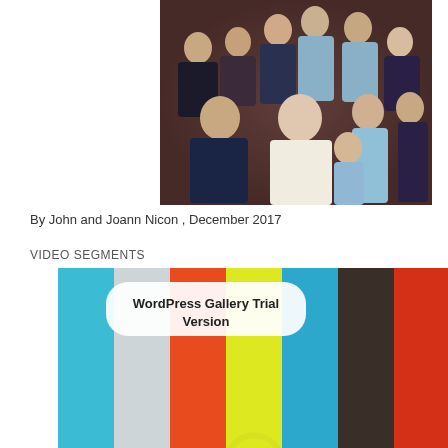[Figure (photo): Family portrait photo showing approximately 11 people of various ages including grandparents, adults, and children posed together against a dark background]
By John and Joann Nicon , December 2017
VIDEO SEGMENTS
[Figure (screenshot): WordPress Gallery Trial Version watermark overlay on a color bars test pattern with cyan, light gray, orange, yellow, cyan, dark brown, and red vertical bars, and a partial yellow circle arc at the bottom center]